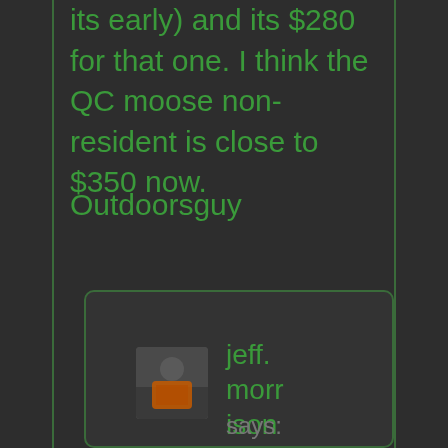its early) and its $280 for that one. I think the QC moose non-resident is close to $350 now.
Outdoorsguy
[Figure (photo): Small avatar photo of a person wearing an orange hunting vest outdoors]
jeff. morrison
says: